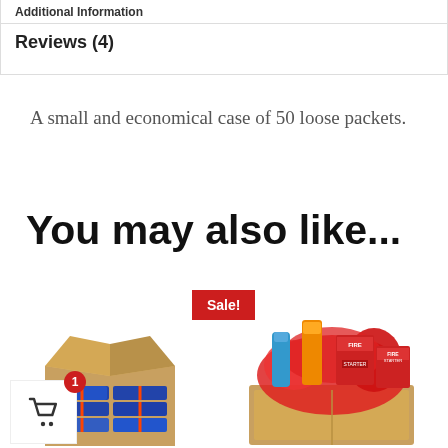Additional Information
Reviews (4)
A small and economical case of 50 loose packets.
You may also like...
[Figure (photo): Sale badge with two product photos: a cardboard box with bundled firestarter packets on the left and a gift-basket style assortment box with firestarter products on the right. A shopping cart icon with badge '1' overlays the left product.]